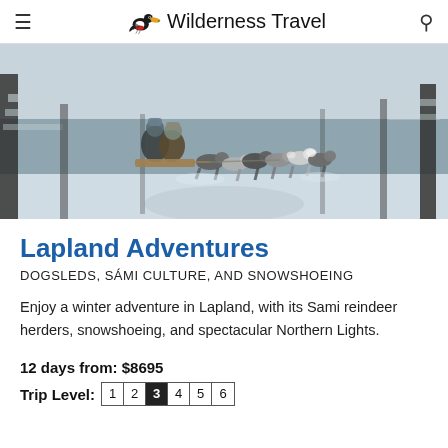Wilderness Travel
[Figure (photo): Dog sled team racing through a snowy winter forest in Lapland, with two riders on the sled and a pack of huskies pulling at full speed. Snow-covered trees line the path.]
Lapland Adventures
DOGSLEDS, SÁMI CULTURE, AND SNOWSHOEING
Enjoy a winter adventure in Lapland, with its Sami reindeer herders, snowshoeing, and spectacular Northern Lights.
12 days from: $8695
Trip Level: 1 2 3 4 5 6